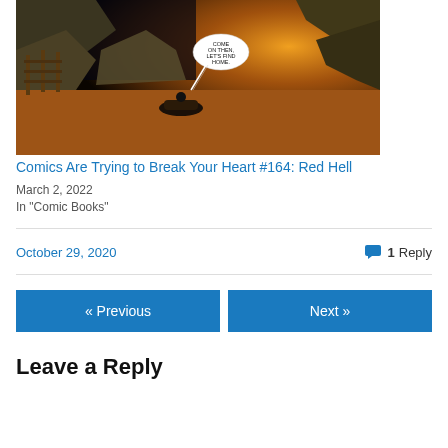[Figure (illustration): Comic book panel showing a dramatic riverside landscape at night with glowing orange sky, rocky cliffs, a wooden structure on the left, a boat on the water, and a speech bubble reading 'Come on then, let's find home.']
Comics Are Trying to Break Your Heart #164: Red Hell
March 2, 2022
In "Comic Books"
October 29, 2020
1 Reply
« Previous
Next »
Leave a Reply